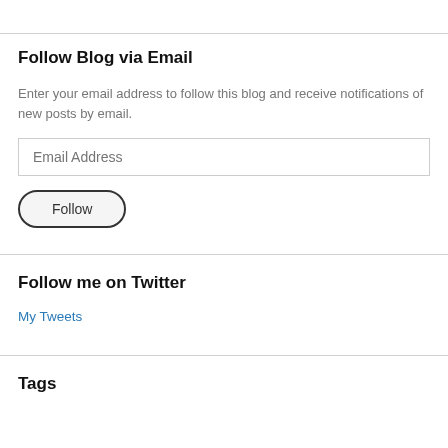Follow Blog via Email
Enter your email address to follow this blog and receive notifications of new posts by email.
[Figure (screenshot): Email Address input field (text input box)]
[Figure (screenshot): Follow button (rounded pill-shaped button)]
Follow me on Twitter
My Tweets
Tags